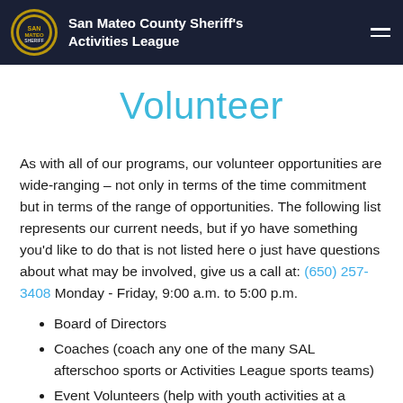San Mateo County Sheriff's Activities League
Volunteer
As with all of our programs, our volunteer opportunities are wide-ranging – not only in terms of the time commitment but in terms of the range of opportunities. The following list represents our current needs, but if you have something you'd like to do that is not listed here or just have questions about what may be involved, give us a call at: (650) 257-3408 Monday - Friday, 9:00 a.m. to 5:00 p.m.
Board of Directors
Coaches (coach any one of the many SAL afterschool sports or Activities League sports teams)
Event Volunteers (help with youth activities at a